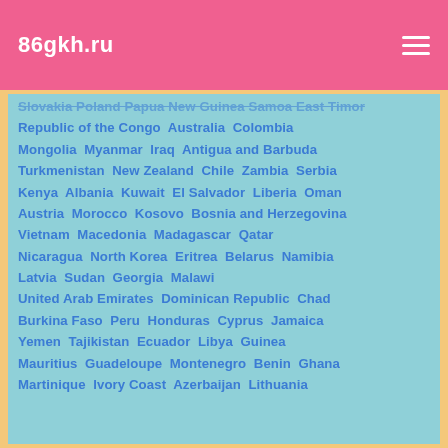86gkh.ru
Slovakia  Poland  Papua New Guinea  East Timor  Republic of the Congo  Australia  Colombia  Mongolia  Myanmar  Iraq  Antigua and Barbuda  Turkmenistan  New Zealand  Chile  Zambia  Serbia  Kenya  Albania  Kuwait  El Salvador  Liberia  Oman  Austria  Morocco  Kosovo  Bosnia and Herzegovina  Vietnam  Macedonia  Madagascar  Qatar  Nicaragua  North Korea  Eritrea  Belarus  Namibia  Latvia  Sudan  Georgia  Malawi  United Arab Emirates  Dominican Republic  Chad  Burkina Faso  Peru  Honduras  Cyprus  Jamaica  Yemen  Tajikistan  Ecuador  Libya  Guinea  Mauritius  Guadeloupe  Montenegro  Benin  Ghana  Martinique  Ivory Coast  Azerbaijan  Lithuania